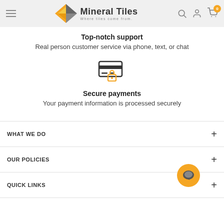[Figure (logo): Mineral Tiles logo with yellow and grey diamond shape icon and tagline 'Where tiles come from.']
Top-notch support
Real person customer service via phone, text, or chat
[Figure (illustration): Credit card with lock icon representing secure payments]
Secure payments
Your payment information is processed securely
WHAT WE DO
OUR POLICIES
QUICK LINKS